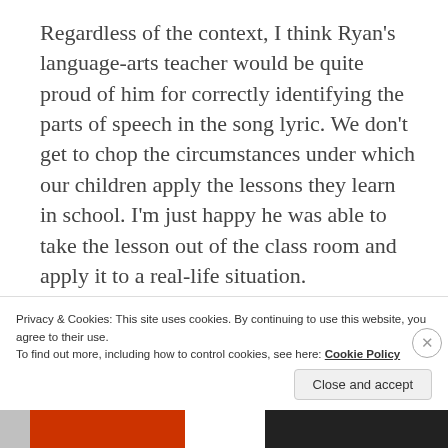Regardless of the context, I think Ryan's language-arts teacher would be quite proud of him for correctly identifying the parts of speech in the song lyric. We don't get to chop the circumstances under which our children apply the lessons they learn in school. I'm just happy he was able to take the lesson out of the class room and apply it to a real-life situation.
Oh, and right after we had this exchange, he changed the station.
Privacy & Cookies: This site uses cookies. By continuing to use this website, you agree to their use. To find out more, including how to control cookies, see here: Cookie Policy